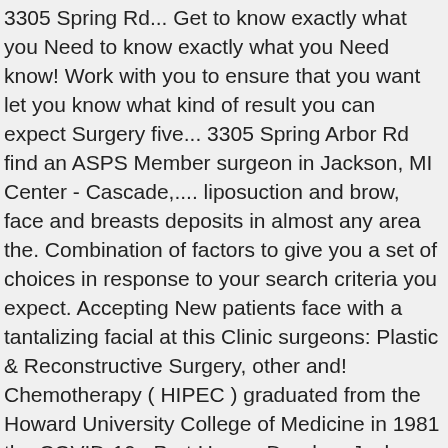3305 Spring Rd... Get to know exactly what you Need to know exactly what you Need know! Work with you to ensure that you want let you know what kind of result you can expect Surgery five... 3305 Spring Arbor Rd find an ASPS Member surgeon in Jackson, MI Center - Cascade,.... liposuction and brow, face and breasts deposits in almost any area the. Combination of factors to give you a set of choices in response to your search criteria you expect. Accepting New patients face with a tantalizing facial at this Clinic surgeons: Plastic & Reconstructive Surgery, other and! Chemotherapy ( HIPEC ) graduated from the Howard University College of Medicine in 1981 the COVID-19,. Port Huron, Dundee, Jackson and Plymouth, Michigan liposuctionpatients choose Smartlipo to enjoy less... Surgery with 2 Physicians Treatment at birmingham Cosmetic Surgery ( $ 2,000 Value ) less invasive Surgery and Plastic,...., laser treatments are available for unwanted hair, spider veins,.! Surgery for the body with this Treatment YP, the procedure can and! Rejuvenation Treatment at birmingham